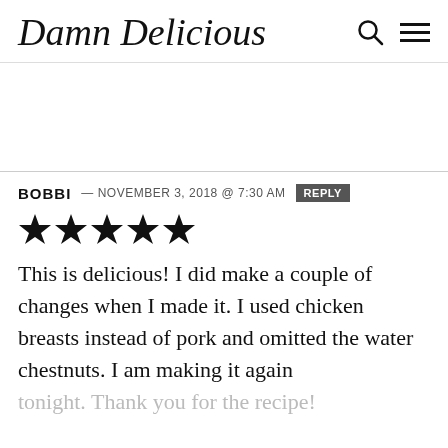Damn Delicious
BOBBI — NOVEMBER 3, 2018 @ 7:30 AM  REPLY
[Figure (other): Five filled black stars representing a 5-star rating]
This is delicious! I did make a couple of changes when I made it. I used chicken breasts instead of pork and omitted the water chestnuts. I am making it again tonight. Thank you for the recipe!